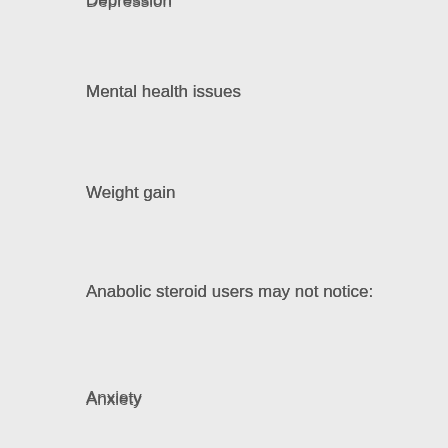Depression
Mental health issues
Weight gain
Anabolic steroid users may not notice:
Anxiety
Weight loss
Hair loss
Depression
Toxins build up in body
Depression
Mental health issues